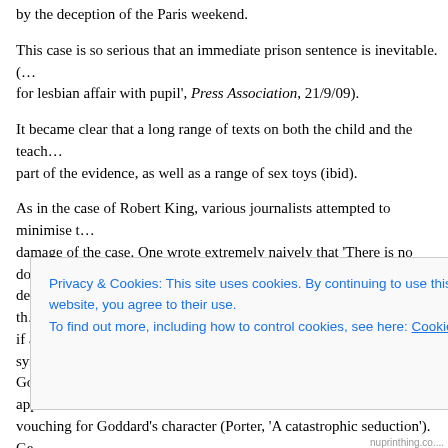by the deception of the Paris weekend.
This case is so serious that an immediate prison sentence is inevitable. (…for lesbian affair with pupil', Press Association, 21/9/09).
It became clear that a long range of texts on both the child and the teacher's phones formed part of the evidence, as well as a range of sex toys (ibid).
As in the case of Robert King, various journalists attempted to minimise the damage of the case. One wrote extremely naively that 'There is no doubt devoutly Christian Goddard is an unlikely woman to find herself cast in the… if abusers would not be softly spoken or Christian), also reporting sympathetically how Goddard was at being separated from the girl; many letters were apparently vouching for Goddard's character (Porter, 'A catastrophic seduction'). Ge… pederastic book The Boy (London: Thames & Hudson, 2003), who had p… Morning Herald that 'A woman of taste is a pederast – boys rather than m…
Privacy & Cookies: This site uses cookies. By continuing to use this website, you agree to their use.
To find out more, including how to control cookies, see here: Cookie Policy
Close and accept